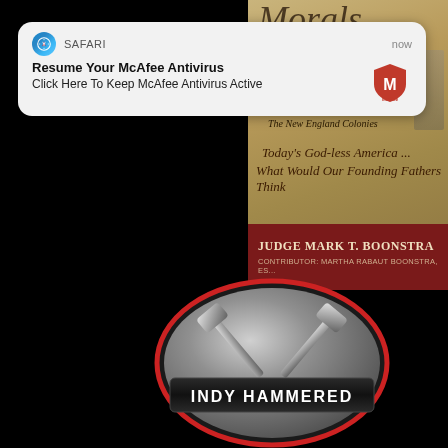[Figure (screenshot): iOS Safari browser notification popup: 'Resume Your McAfee Antivirus — Click Here To Keep McAfee Antivirus Active', with McAfee logo on the right, 'now' timestamp.]
[Figure (photo): Partial book cover: cursive title text, 'Volume I / The New England Colonies', 'Today's God-less America... What Would Our Founding Fathers Think', dark red author bar reading 'JUDGE MARK T. BOONSTRA, CONTRIBUTOR: MARTHA RABAUT BOONSTRA, ES...']
[Figure (logo): Indy Hammered logo: oval metallic badge with two crossed hammers and text 'INDY HAMMERED' on a dark banner, with red trim ring.]